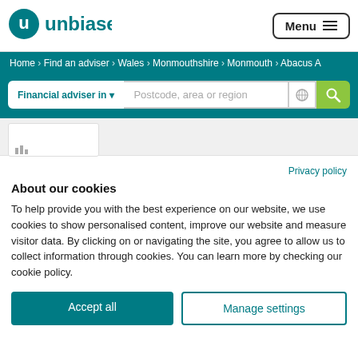[Figure (logo): Unbiased logo with circular 'u' icon and 'unbiased' text]
Menu
Home > Find an adviser > Wales > Monmouthshire > Monmouth > Abacus A
Financial adviser in ▾  Postcode, area or region
Privacy policy
About our cookies
To help provide you with the best experience on our website, we use cookies to show personalised content, improve our website and measure visitor data. By clicking on or navigating the site, you agree to allow us to collect information through cookies. You can learn more by checking our cookie policy.
Accept all
Manage settings